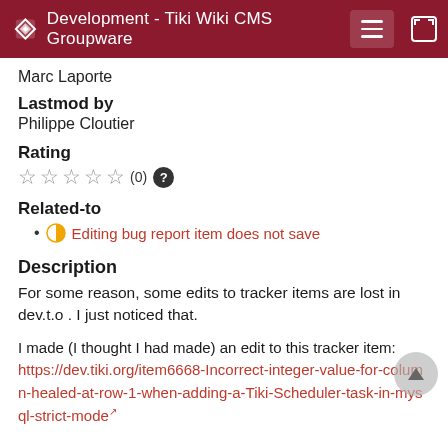Development - Tiki Wiki CMS Groupware
Marc Laporte
Lastmod by
Philippe Cloutier
Rating
☆ ☆ ☆ ☆ ☆ (0) ?
Related-to
Editing bug report item does not save
Description
For some reason, some edits to tracker items are lost in dev.t.o . I just noticed that.
I made (I thought I had made) an edit to this tracker item: https://dev.tiki.org/item6668-Incorrect-integer-value-for-column-healed-at-row-1-when-adding-a-Tiki-Scheduler-task-in-mysql-strict-mode